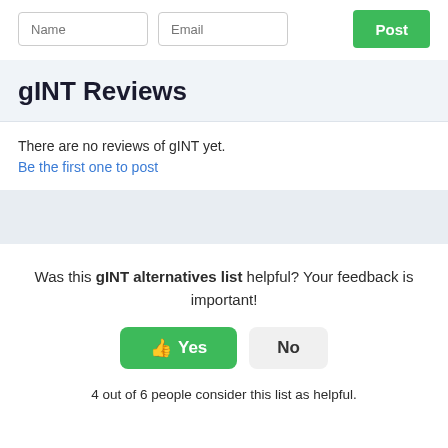Name
Email
Post
gINT Reviews
There are no reviews of gINT yet.
Be the first one to post
Was this gINT alternatives list helpful? Your feedback is important!
Yes
No
4 out of 6 people consider this list as helpful.